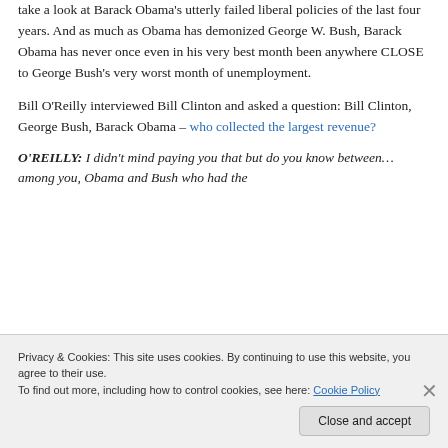take a look at Barack Obama's utterly failed liberal policies of the last four years. And as much as Obama has demonized George W. Bush, Barack Obama has never once even in his very best month been anywhere CLOSE to George Bush's very worst month of unemployment.
Bill O'Reilly interviewed Bill Clinton and asked a question: Bill Clinton, George Bush, Barack Obama – who collected the largest revenue?
O'REILLY: I didn't mind paying you that but do you know between… among you, Obama and Bush who had the
Privacy & Cookies: This site uses cookies. By continuing to use this website, you agree to their use.
To find out more, including how to control cookies, see here: Cookie Policy